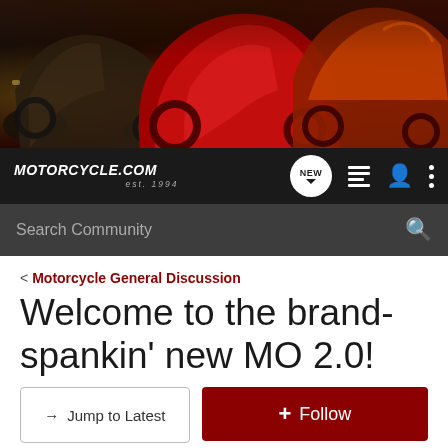[Figure (photo): Hero banner image showing multiple motorcycles on a track, including dark cruiser on the left, red sport bike in the center, and orange/red sport bike on the right against a dark sky background]
MOTORCYCLE.COM est. 1994
Search Community
< Motorcycle General Discussion
Welcome to the brand-spankin' new MO 2.0!
→ Jump to Latest
+ Follow
REVIEWS  SPECS  NEWS  CLASSIFIEDS  VIDEOS